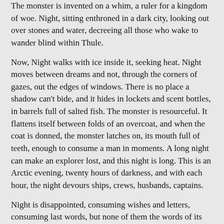The monster is invented on a whim, a ruler for a kingdom of woe. Night, sitting enthroned in a dark city, looking out over stones and water, decreeing all those who wake to wander blind within Thule.
Now, Night walks with ice inside it, seeking heat. Night moves between dreams and not, through the corners of gazes, out the edges of windows. There is no place a shadow can't bide, and it hides in lockets and scent bottles, in barrels full of salted fish. The monster is resourceful. It flattens itself between folds of an overcoat, and when the coat is donned, the monster latches on, its mouth full of teeth, enough to consume a man in moments. A long night can make an explorer lost, and this night is long. This is an Arctic evening, twenty hours of darkness, and with each hour, the night devours ships, crews, husbands, captains.
Night is disappointed, consuming wishes and letters, consuming last words, but none of them the words of its maker. It hungers for even a faint lantern lit on deck during a storm. Night was king in Thule, and then its maker fell in love, only to wreck on a shoal far from the northern clouds.